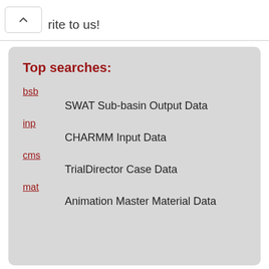rite to us!
Top searches:
bsb
SWAT Sub-basin Output Data
inp
CHARMM Input Data
cms
TrialDirector Case Data
mat
Animation Master Material Data